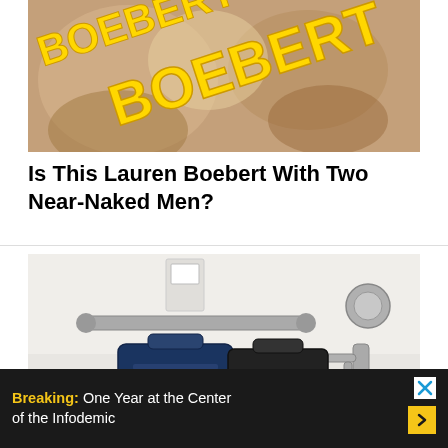[Figure (photo): Blurred photo of shirtless men with yellow bold text overlay reading 'BOEBERT']
Is This Lauren Boebert With Two Near-Naked Men?
[Figure (photo): Photo of a bathtub with grab bars and two bags (navy blue and black) placed inside]
Breaking: One Year at the Center of the Infodemic